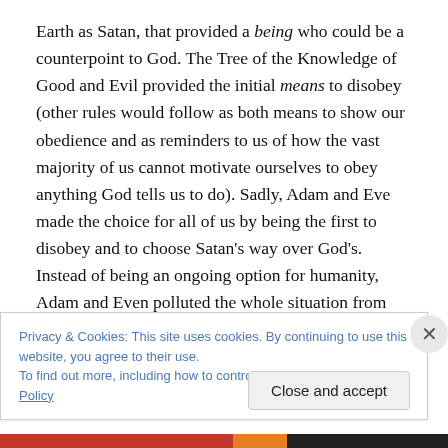Earth as Satan, that provided a being who could be a counterpoint to God. The Tree of the Knowledge of Good and Evil provided the initial means to disobey (other rules would follow as both means to show our obedience and as reminders to us of how the vast majority of us cannot motivate ourselves to obey anything God tells us to do). Sadly, Adam and Eve made the choice for all of us by being the first to disobey and to choose Satan's way over God's. Instead of being an ongoing option for humanity, Adam and Even polluted the whole situation from the get-go and made all of us, essentially, Satan's pawns instead
Privacy & Cookies: This site uses cookies. By continuing to use this website, you agree to their use.
To find out more, including how to control cookies, see here: Cookie Policy